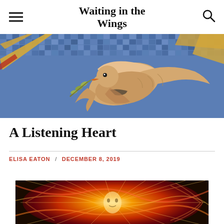Waiting in the Wings
[Figure (photo): Mosaic artwork showing a dove carrying an olive branch against a blue mosaic tile background with diagonal golden stripes]
A Listening Heart
ELISA EATON / DECEMBER 8, 2019
[Figure (photo): Colorful abstract spiritual artwork with radiant light and angelic figures in warm orange and red tones]